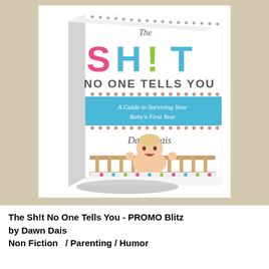[Figure (illustration): A 3D book cover for 'The Sh!t No One Tells You - A Guide to Surviving Your Baby's First Year' by Dawn Dais. The cover shows large colorful letters SH!T (pink S, blue H, green exclamation, blue T) with 'No One Tells You' below in gray, a blue ribbon banner with subtitle, author name in script, and a photo of a baby standing in a crib looking over the railing with mouth open.]
The Sh!t No One Tells You - PROMO Blitz
by Dawn Dais
Non Fiction   / Parenting / Humor